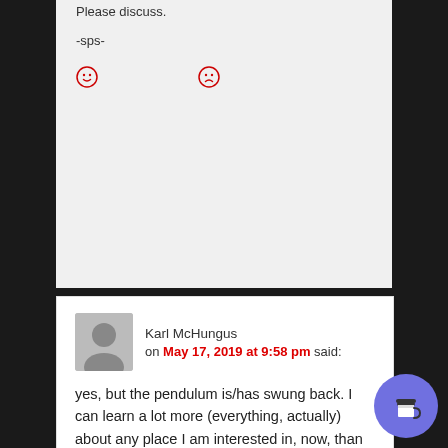Please discuss.
-sps-
Karl McHungus on May 17, 2019 at 9:58 pm said:
yes, but the pendulum is/has swung back. I can learn a lot more (everything, actually) about any place I am interested in, now, than before the internet. look at Zman, he is international *and* Southern. I see regional differentiation going on now, as people are open to (and looking for) new things.